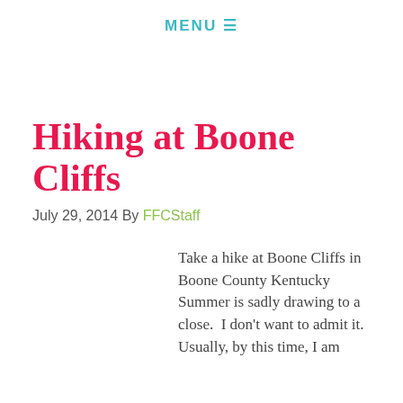MENU ☰
Hiking at Boone Cliffs
July 29, 2014 By FFCStaff
Take a hike at Boone Cliffs in Boone County Kentucky Summer is sadly drawing to a close.  I don't want to admit it. Usually, by this time, I am